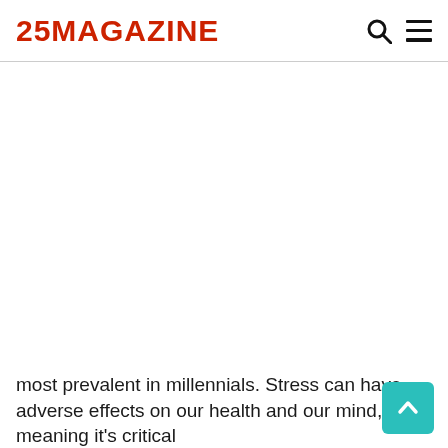25MAGAZINE
[Figure (other): Large white blank image area below the site header, occupying the central portion of the page.]
most prevalent in millennials. Stress can have adverse effects on our health and our mind, meaning it's critical